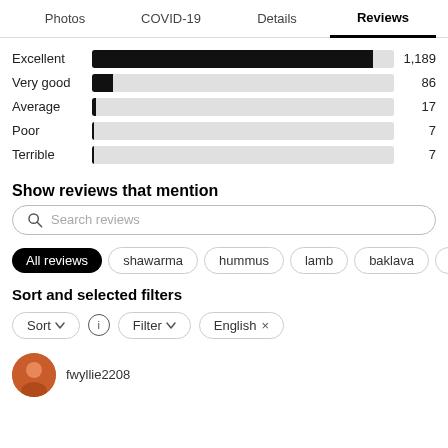Photos  COVID-19  Details  Reviews
[Figure (bar-chart): Rating distribution]
Show reviews that mention
Search reviews
All reviews  shawarma  hummus  lamb  baklava  mix
Sort and selected filters
Sort  Filter  English ×
fwyllie2208